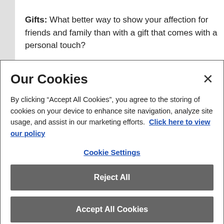Gifts: What better way to show your affection for friends and family than with a gift that comes with a personal touch?
The potential ideas for both budding woodworkers and
Our Cookies
By clicking “Accept All Cookies”, you agree to the storing of cookies on your device to enhance site navigation, analyze site usage, and assist in our marketing efforts. Click here to view our policy
Cookie Settings
Reject All
Accept All Cookies